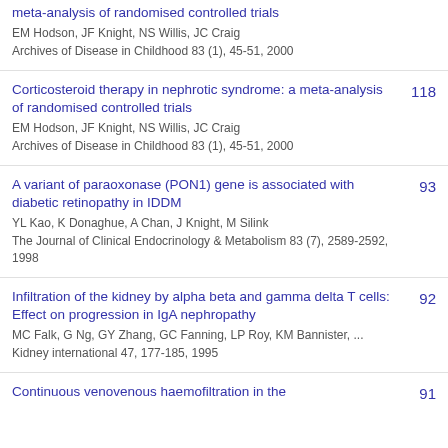meta-analysis of randomised controlled trials
EM Hodson, JF Knight, NS Willis, JC Craig
Archives of Disease in Childhood 83 (1), 45-51, 2000
Corticosteroid therapy in nephrotic syndrome: a meta-analysis of randomised controlled trials
EM Hodson, JF Knight, NS Willis, JC Craig
Archives of Disease in Childhood 83 (1), 45-51, 2000
118
A variant of paraoxonase (PON1) gene is associated with diabetic retinopathy in IDDM
YL Kao, K Donaghue, A Chan, J Knight, M Silink
The Journal of Clinical Endocrinology & Metabolism 83 (7), 2589-2592, 1998
93
Infiltration of the kidney by alpha beta and gamma delta T cells: Effect on progression in IgA nephropathy
MC Falk, G Ng, GY Zhang, GC Fanning, LP Roy, KM Bannister, ...
Kidney international 47, 177-185, 1995
92
Continuous venovenous haemofiltration in the ...
91